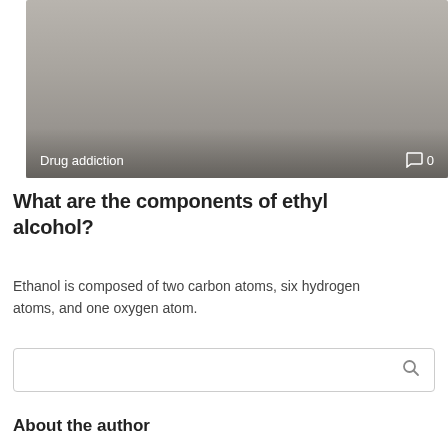[Figure (photo): Gray/beige colored background image with 'Drug addiction' label and comment count '0' overlaid at bottom]
What are the components of ethyl alcohol?
Ethanol is composed of two carbon atoms, six hydrogen atoms, and one oxygen atom.
About the author